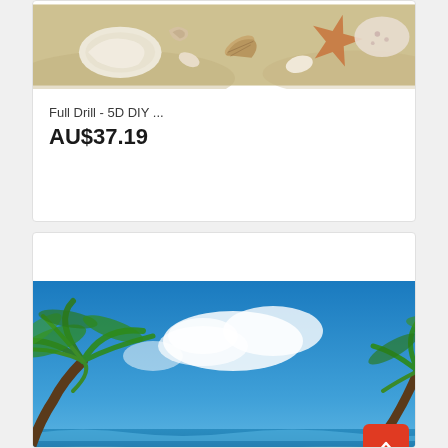[Figure (photo): Seashells and starfish on sandy beach, top portion of product card]
Full Drill - 5D DIY ...
AU$37.19
[Figure (photo): Tropical beach scene with palm trees and blue sky with clouds, partial second product card]